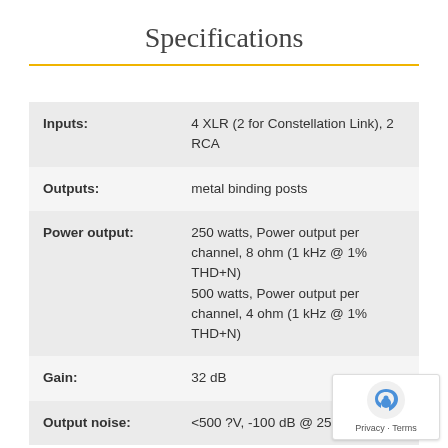Specifications
| Parameter | Value |
| --- | --- |
| Inputs: | 4 XLR (2 for Constellation Link), 2 RCA |
| Outputs: | metal binding posts |
| Power output: | 250 watts, Power output per channel, 8 ohm (1 kHz @ 1% THD+N)
500 watts, Power output per channel, 4 ohm (1 kHz @ 1% THD+N) |
| Gain: | 32 dB |
| Output noise: | <500 ?V, -100 dB @ 250 watts |